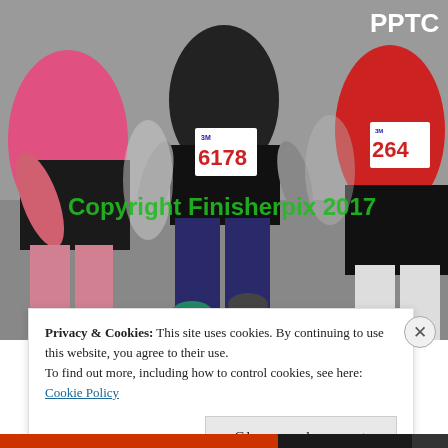[Figure (photo): Runners in a road race. Center runner wears bib number 6178 and a black top with blue patterned leggings. Left runner wears a pink/magenta top. Right runner wears a red top with PPTC text and bib number 264. A green watermark reads 'Copyright Finisherpix 2017'. Road surface visible at bottom.]
Privacy & Cookies: This site uses cookies. By continuing to use this website, you agree to their use.
To find out more, including how to control cookies, see here: Cookie Policy
Close and accept